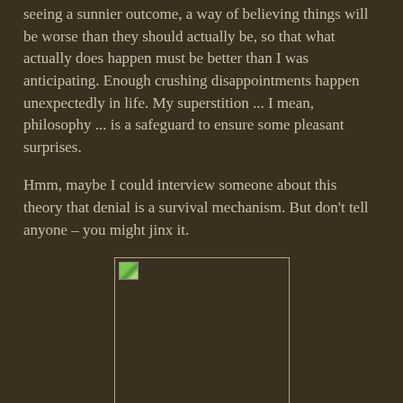seeing a sunnier outcome, a way of believing things will be worse than they should actually be, so that what actually does happen must be better than I was anticipating. Enough crushing disappointments happen unexpectedly in life. My superstition ... I mean, philosophy ... is a safeguard to ensure some pleasant surprises.
Hmm, maybe I could interview someone about this theory that denial is a survival mechanism. But don't tell anyone – you might jinx it.
[Figure (photo): A placeholder image with a broken image icon in the top-left corner, bordered rectangle on dark brown background.]
Links:
The interview with the writer did happen, so I can